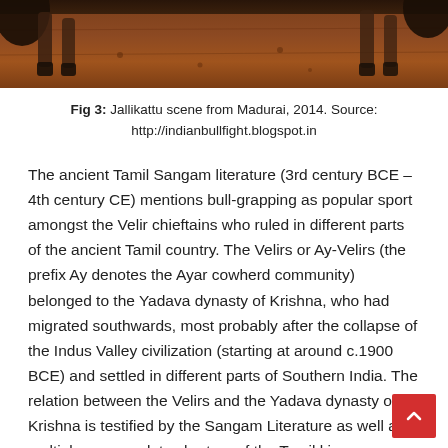[Figure (photo): Partial view of a Jallikattu bull scene — legs/hooves visible over reddish-brown ground]
Fig 3: Jallikattu scene from Madurai, 2014. Source: http://indianbullfight.blogspot.in
The ancient Tamil Sangam literature (3rd century BCE – 4th century CE) mentions bull-grapping as popular sport amongst the Velir chieftains who ruled in different parts of the ancient Tamil country. The Velirs or Ay-Velirs (the prefix Ay denotes the Ayar cowherd community) belonged to the Yadava dynasty of Krishna, who had migrated southwards, most probably after the collapse of the Indus Valley civilization (starting at around c.1900 BCE) and settled in different parts of Southern India. The relation between the Velirs and the Yadava dynasty of Krishna is testified by the Sangam Literature as well as multiple copper-plate charters of the Tamil kings.